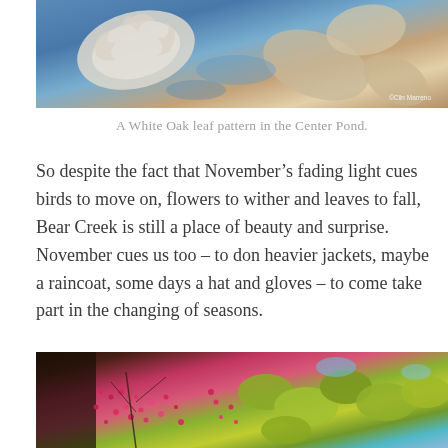[Figure (photo): A White Oak leaf pattern in water at the Center Pond, showing pale dried oak leaves floating on blue water with reflections. Copyright Clin Marreno watermark visible.]
A White Oak leaf pattern in the Center Pond.
So despite the fact that November’s fading light cues birds to move on, flowers to wither and leaves to fall, Bear Creek is still a place of beauty and surprise.  November cues us too – to don heavier jackets, maybe a raincoat, some days a hat and gloves – to come take part in the changing of seasons.
[Figure (photo): Close-up photo of pink/red berries or small flowering plant branches against a background of yellow-green autumn leaves and blue sky.]